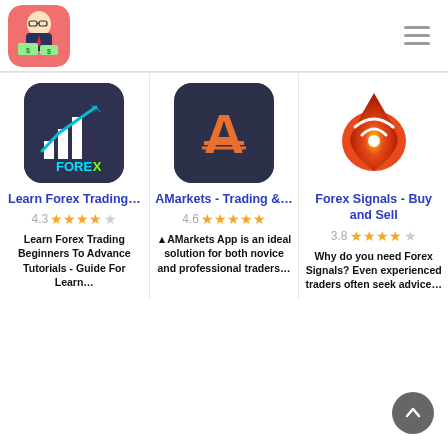[Figure (logo): App logo: cartoon businessman holding money on pink background]
[Figure (illustration): Hamburger menu icon (three horizontal lines)]
[Figure (logo): Learn Forex Trading app icon: dark background with dollar chart and FOREX text]
Learn Forex Trading…
4.3 ★★★★☆
Learn Forex Trading Beginners To Advance Tutorials - Guide For Learn...
[Figure (logo): AMarkets app icon: dark background with orange A letter logo]
AMarkets - Trading &…
4.6 ★★★★★
▲AMarkets App is an ideal solution for both novice and professional traders...
[Figure (logo): Forex Signals app icon: red/orange droplet with wifi signal symbol]
Forex Signals - Buy and Sell
3.8 ★★★★☆
Why do you need Forex Signals? Even experienced traders often seek advice...